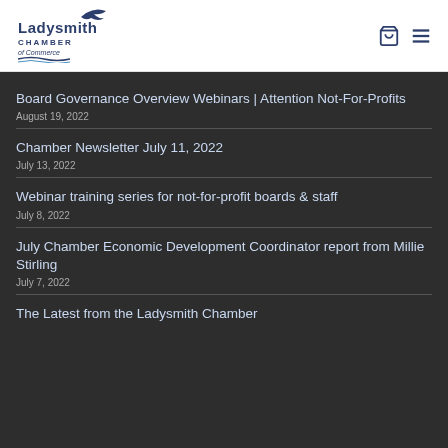[Figure (logo): Ladysmith Chamber of Commerce logo with bird and wave design]
Board Governance Overview Webinars | Attention Not-For-Profits
August 19, 2022
Chamber Newsletter July 11, 2022
July 13, 2022
Webinar training series for not-for-profit boards & staff
July 8, 2022
July Chamber Economic Development Coordinator report from Millie Stirling
July 7, 2022
The Latest from the Ladysmith Chamber